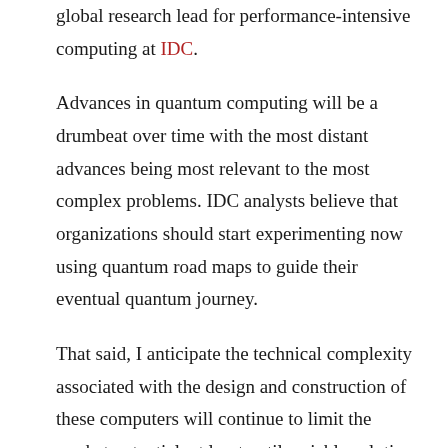global research lead for performance-intensive computing at IDC.
Advances in quantum computing will be a drumbeat over time with the most distant advances being most relevant to the most complex problems. IDC analysts believe that organizations should start experimenting now using quantum road maps to guide their eventual quantum journey.
That said, I anticipate the technical complexity associated with the design and construction of these computers will continue to limit the market potential; at least until a viable solution to the deployment challenge emerges. Applications in financial modeling appear to have the greatest potential, but quantum may have a similar growth trajectory to artificial intelligence (AI) — typically